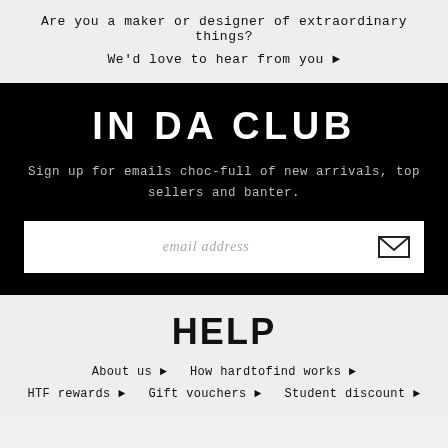Are you a maker or designer of extraordinary things?
We'd love to hear from you ▶
IN DA CLUB
Sign up for emails choc-full of new arrivals, top sellers and banter.
email address
HELP
About us ▶   How hardtofind works ▶
HTF rewards ▶   Gift vouchers ▶   Student discount ▶